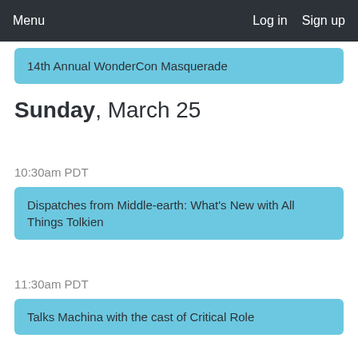Menu   Log in   Sign up
14th Annual WonderCon Masquerade
Sunday, March 25
10:30am PDT
Dispatches from Middle-earth: What's New with All Things Tolkien
11:30am PDT
Talks Machina with the cast of Critical Role